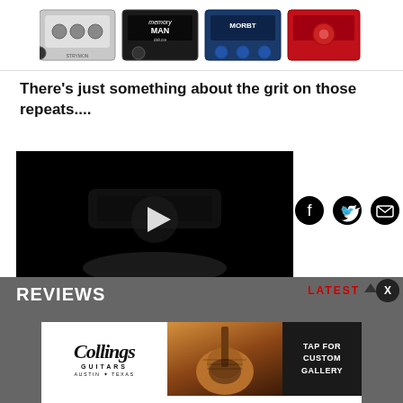[Figure (photo): Row of guitar effects pedals: a silver Strymon-style pedal, an EHX Memory Man, a blue Morley-style pedal, and a red pedal]
There’s just something about the grit on those repeats....
[Figure (screenshot): Dark video thumbnail showing a guitar pedal/footswitch with a white play button overlay]
[Figure (infographic): Social share icons: Facebook circle, Twitter bird, Email envelope]
REVIEWS
LATEST
[Figure (photo): Collings Guitars advertisement showing a sunburst acoustic guitar with text TAP FOR CUSTOM GALLERY and Collings Guitars Austin Texas logo]